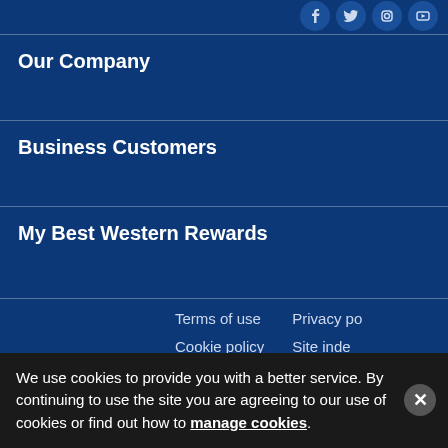[Figure (illustration): Social media icons (Facebook, Twitter, Instagram, YouTube) shown as circular icons in the top right area]
Our Company
Business Customers
My Best Western Rewards
Terms of use
Privacy po[licy]
Cookie policy
Site inde[x]
Low Rate Guarantee
We use cookies to provide you with a better service. By continuing to use the site you are agreeing to our use of cookies or find out how to manage cookies.